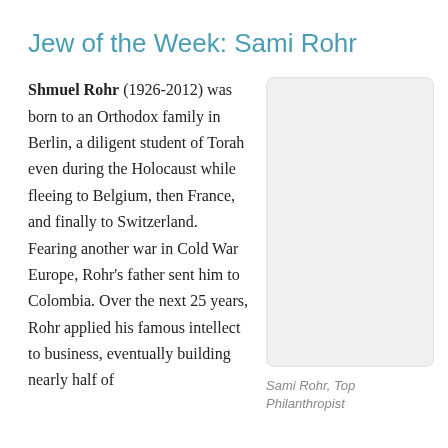Jew of the Week: Sami Rohr
Shmuel Rohr (1926-2012) was born to an Orthodox family in Berlin, a diligent student of Torah even during the Holocaust while fleeing to Belgium, then France, and finally to Switzerland. Fearing another war in Cold War Europe, Rohr's father sent him to Colombia. Over the next 25 years, Rohr applied his famous intellect to business, eventually building nearly half of
[Figure (photo): Portrait photo of Sami Rohr, shown as a placeholder image box]
Sami Rohr, Top Philanthropist